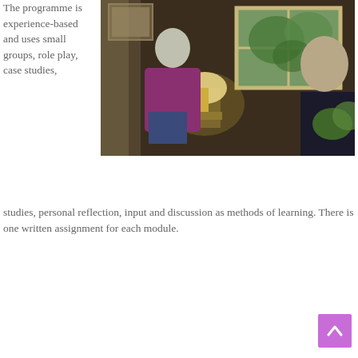The programme is experience-based and uses small groups, role play, case studies, personal reflection, input and discussion as methods of learning. There is one written assignment for each module.
[Figure (photo): Two people sitting in a warmly lit room with a window showing green foliage outside. A lamp on a side table illuminates the scene. Appears to be a counselling or therapy session setting.]